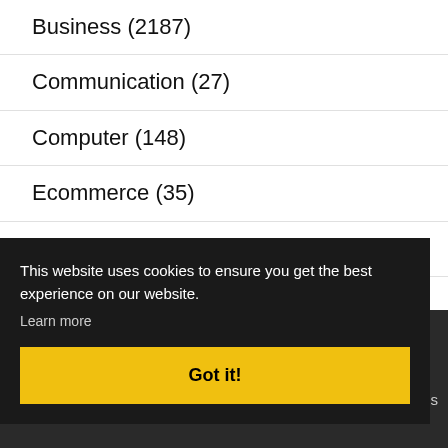Business (2187)
Communication (27)
Computer (148)
Ecommerce (35)
Education (449)
Electronics (91)
Energy (5)
Entertainment (59)
This website uses cookies to ensure you get the best experience on our website.
Learn more
Got it!
ditions